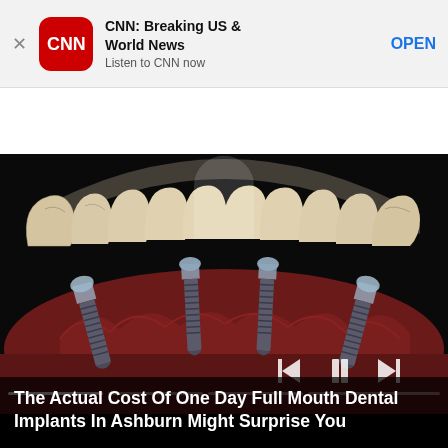[Figure (screenshot): App store banner for CNN: Breaking US & World News app with X close button, CNN red icon, app name, subtitle 'Listen to CNN now', and OPEN button]
CNN travel  VIDEO
[Figure (illustration): Medical illustration of dental implants showing four titanium screw implants embedded in gum tissue with a full arch of teeth (dental bridge) above them, on a black background. Video playback controls (skip back, pause, skip forward) visible in lower right. Progress bar segments at bottom.]
The Actual Cost Of One Day Full Mouth Dental Implants In Ashburn Might Surprise You